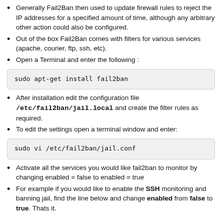Generally Fail2Ban then used to update firewall rules to reject the IP addresses for a specified amount of time, although any arbitrary other action could also be configured.
Out of the box Fail2Ban comes with filters for various services (apache, courier, ftp, ssh, etc).
Open a Terminal and enter the following :
After installation edit the configuration file /etc/fail2ban/jail.local and create the filter rules as required.
To edit the settings open a terminal window and enter:
Activate all the services you would like fail2ban to monitor by changing enabled = false to enabled = true
For example if you would like to enable the SSH monitoring and banning jail, find the line below and change enabled from false to true. Thats it.